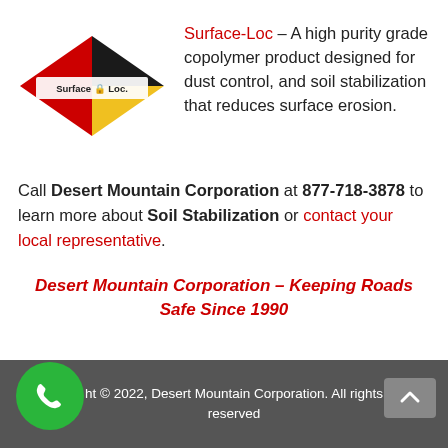[Figure (logo): Surface-Loc diamond-shaped logo with red, black, and yellow sections, with 'Surface Loc.' text inside]
Surface-Loc – A high purity grade copolymer product designed for dust control, and soil stabilization that reduces surface erosion.
Call Desert Mountain Corporation at 877-718-3878 to learn more about Soil Stabilization or contact your local representative.
Desert Mountain Corporation – Keeping Roads Safe Since 1990
ht © 2022, Desert Mountain Corporation. All rights reserved